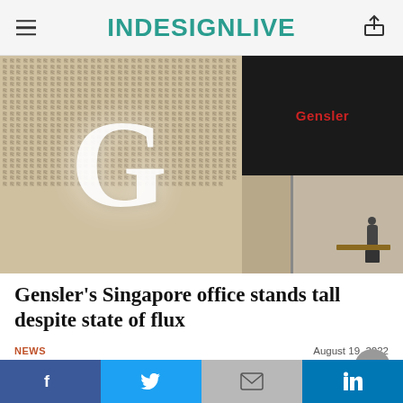INDESIGNLIVE
[Figure (photo): Gensler Singapore office entrance featuring a large illuminated 'G' letter on a textured wall with Chinese characters, black panel with red Gensler wordmark, and glass door showing office interior with person at desk]
Gensler’s Singapore office stands tall despite state of flux
NEWS
August 19, 2022
[Figure (infographic): Sponsors/advertisers bar showing logos: GAGGENAU, circular logo, INDE AWARDS, bar chart icon with text, Zenith, Colorbond, BOSC (partial)]
Facebook, Twitter, Gmail/Email, LinkedIn social sharing buttons